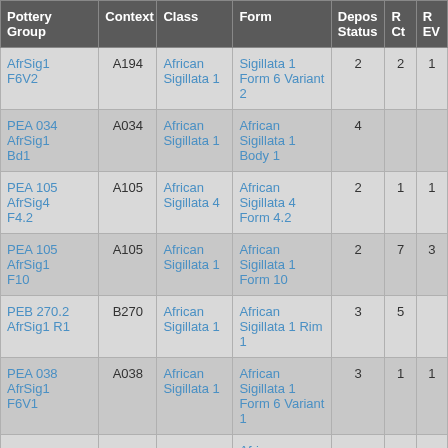| Pottery Group | Context | Class | Form | Depos Status | R Ct | R EV |
| --- | --- | --- | --- | --- | --- | --- |
| AfrSig1 F6V2 | A194 | African Sigillata 1 | Sigillata 1 Form 6 Variant 2 | 2 | 2 | 1 |
| PEA 034 AfrSig1 Bd1 | A034 | African Sigillata 1 | African Sigillata 1 Body 1 | 4 |  |  |
| PEA 105 AfrSig4 F4.2 | A105 | African Sigillata 4 | African Sigillata 4 Form 4.2 | 2 | 1 | 1 |
| PEA 105 AfrSig1 F10 | A105 | African Sigillata 1 | African Sigillata 1 Form 10 | 2 | 7 | 3 |
| PEB 270.2 AfrSig1 R1 | B270 | African Sigillata 1 | African Sigillata 1 Rim 1 | 3 | 5 |  |
| PEA 038 AfrSig1 F6V1 | A038 | African Sigillata 1 | African Sigillata 1 Form 6 Variant 1 | 3 | 1 | 1 |
| ... |  |  | African ... |  |  |  |